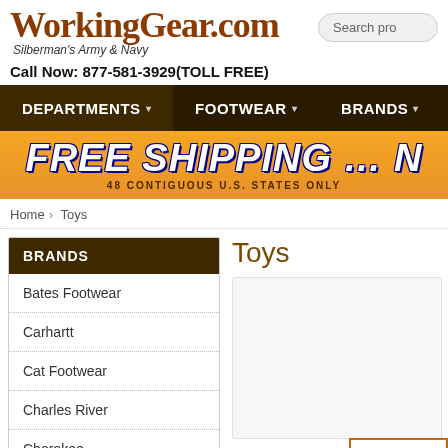WorkingGear.com — Silberman's Army & Navy | Search pro
Call Now: 877-581-3929(TOLL FREE)
DEPARTMENTS | FOOTWEAR | BRANDS
[Figure (infographic): FREE SHIPPING ... N banner with orange gradient background. Text: '48 CONTIGUOUS U.S. STATES ONLY']
Home › Toys
BRANDS
Bates Footwear
Carhartt
Cat Footwear
Charles River
Cherokee
Toys